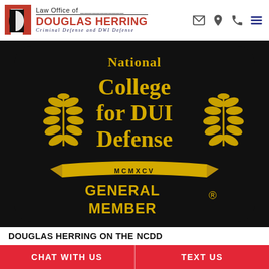Law Office of DOUGLAS HERRING — Criminal Defense and DWI Defense
[Figure (logo): National College for DUI Defense General Member badge — black round-cornered rectangle with gold laurel wreaths on each side, yellow serif text reading 'National College for DUI Defense', a gold ribbon banner with 'MCMXCV', and bold gold text 'GENERAL MEMBER' with a registered trademark symbol]
DOUGLAS HERRING ON THE NCDD
CHAT WITH US
TEXT US